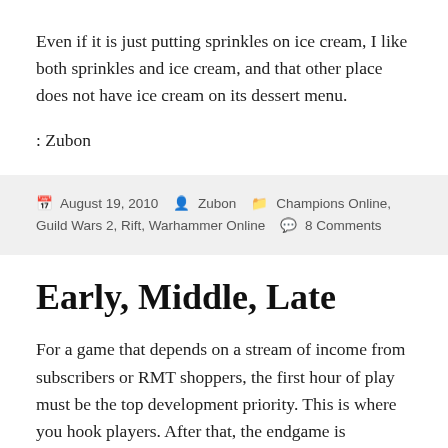Even if it is just putting sprinkles on ice cream, I like both sprinkles and ice cream, and that other place does not have ice cream on its dessert menu.
: Zubon
August 19, 2010   Zubon   Champions Online, Guild Wars 2, Rift, Warhammer Online   8 Comments
Early, Middle, Late
For a game that depends on a stream of income from subscribers or RMT shoppers, the first hour of play must be the top development priority. This is where you hook players. After that, the endgame is important because that is where your players will be